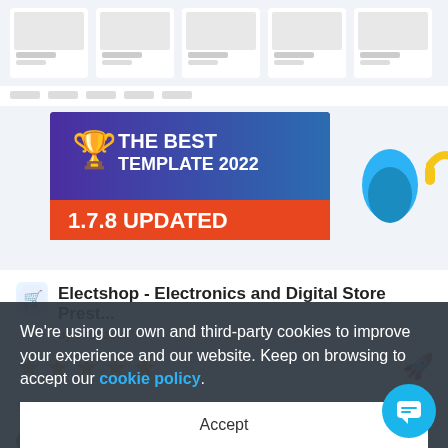[Figure (screenshot): Screenshot of an electronics e-commerce website template (Electshop) showing product listings with tablets, TVs, mobiles, accessories, and promotional banners. Overlaid badges: 'THE BEST TEMPLATE 2022' and '1.7.8 UPDATED'.]
Electshop - Electronics and Digital Store Prest...
by codezeel
[Figure (infographic): Five orange/yellow star rating icons (full stars)]
[Figure (infographic): Orange rocket icon]
Sales: 56
$90
✓ Recently Updated
We're using our own and third-party cookies to improve your experience and our website. Keep on browsing to accept our cookie policy.
Accept